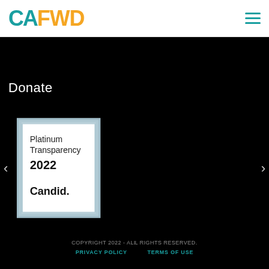CAFWD
Donate
[Figure (logo): Candid Platinum Transparency 2022 badge — white square badge with light blue border showing text: Platinum Transparency 2022 Candid.]
COPYRIGHT 2022 - ALL RIGHTS RESERVED. PRIVACY POLICY  TERMS OF USE